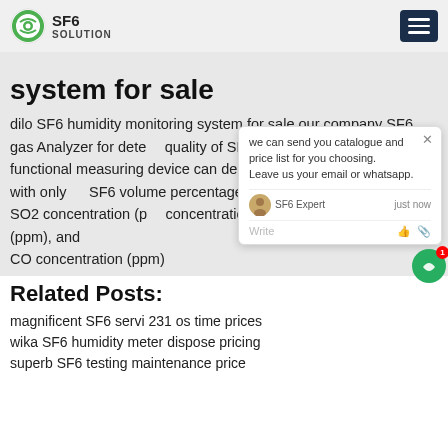SF6 SOLUTION
system for sale
dilo SF6 humidity monitoring system for sale,our company SF6 gas Analyzer for detecting the quality of SF6 gas. This emission-free functional measuring device can detect six measuring parameters with only one coupler: SF6 volume percentage (%), Moisture concentration, SO2 concentration (ppm), HF concentration (ppm) H2S concentration (ppm), and CO concentration (ppm)
Related Posts:
magnificent SF6 servi 231 os time prices
wika SF6 humidity meter dispose pricing
superb SF6 testing maintenance price